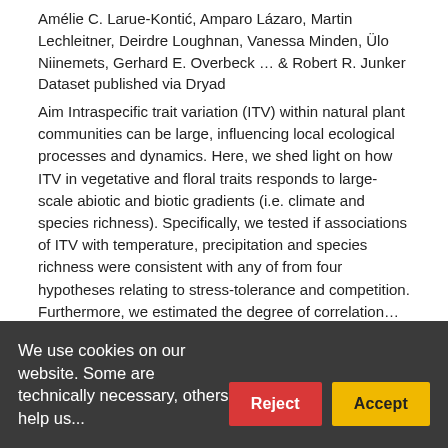Amélie C. Larue-Kontić, Amparo Lázaro, Martin Lechleitner, Deirdre Loughnan, Vanessa Minden, Ülo Niinemets, Gerhard E. Overbeck … & Robert R. Junker Dataset published via Dryad
Aim Intraspecific trait variation (ITV) within natural plant communities can be large, influencing local ecological processes and dynamics. Here, we shed light on how ITV in vegetative and floral traits responds to large-scale abiotic and biotic gradients (i.e. climate and species richness). Specifically, we tested if associations of ITV with temperature, precipitation and species richness were consistent with any of from four hypotheses relating to stress-tolerance and competition. Furthermore, we estimated the degree of correlation…
1 citation   107 views   29 downloads
We use cookies on our website. Some are technically necessary, others help us...
Reject
Accept